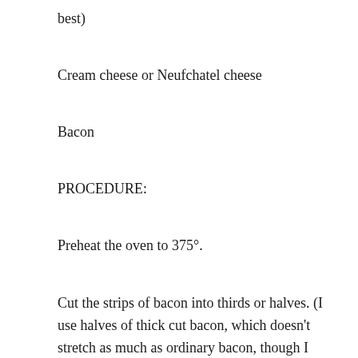best)
Cream cheese or Neufchatel cheese
Bacon
PROCEDURE:
Preheat the oven to 375°.
Cut the strips of bacon into thirds or halves.  (I use halves of thick cut bacon, which doesn't stretch as much as ordinary bacon, though I have also used thirds of regular commercial bacon.) Put a roasting rack on a baking pan.